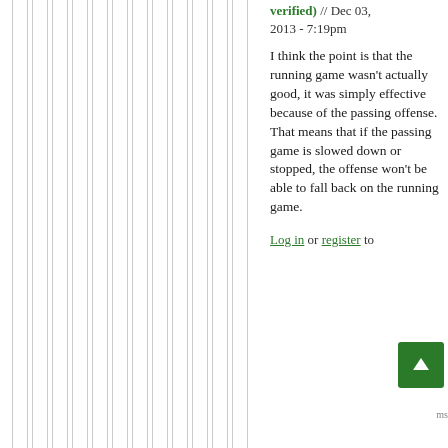(verified) // Dec 03, 2013 - 7:19pm
I think the point is that the running game wasn't actually good, it was simply effective because of the passing offense. That means that if the passing game is slowed down or stopped, the offense won't be able to fall back on the running game.
Log in or register to